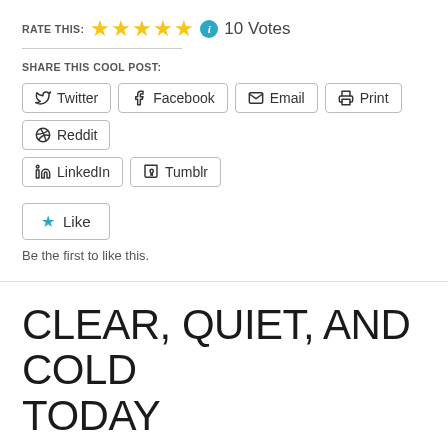RATE THIS: ★★★★★ ℹ 10 Votes
SHARE THIS COOL POST:
Twitter  Facebook  Email  Print  Reddit  LinkedIn  Tumblr
Like
Be the first to like this.
CLEAR, QUIET, AND COLD TODAY
JANUARY 31, 2020  LEAVE A COMMENT